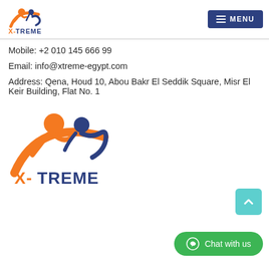[Figure (logo): X-TREME logo small — orange figure and blue figure with orange swoosh, text X-TREME in orange and blue]
Mobile: +2 010 145 666 99
Email: info@xtreme-egypt.com
Address: Qena, Houd 10, Abou Bakr El Seddik Square, Misr El Keir Building, Flat No. 1
[Figure (logo): X-TREME large logo — orange human figure and blue human figure with orange swoosh arc, bold X-TREME text in orange (X-) and dark blue (TREME)]